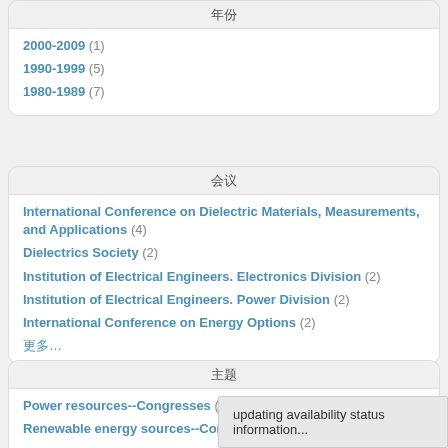年份
2000-2009 (1)
1990-1999 (5)
1980-1989 (7)
会议
International Conference on Dielectric Materials, Measurements, and Applications (4)
Dielectrics Society (2)
Institution of Electrical Engineers. Electronics Division (2)
Institution of Electrical Engineers. Power Division (2)
International Conference on Energy Options (2)
更多...
主题
Power resources--Congresses (2)
Renewable energy sources--Congresses (2)
updating availability status information...